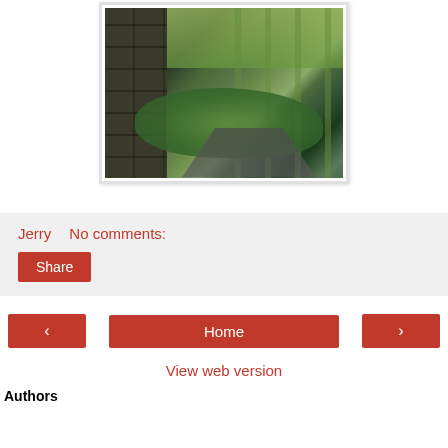[Figure (photo): Outdoor photo showing a stone wall on the left, a path through trees and green foliage, with sunlight filtering through leaves.]
Jerry   No comments:
Share
< Home >
View web version
Authors